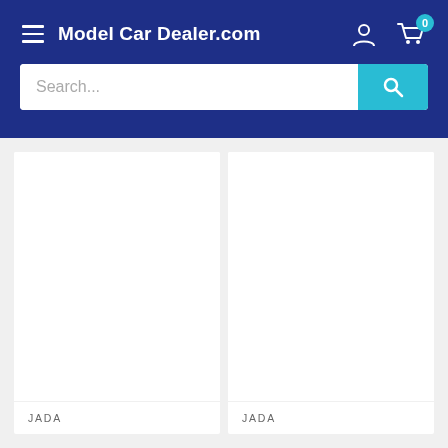Model Car Dealer.com
Search...
JADA
JADA